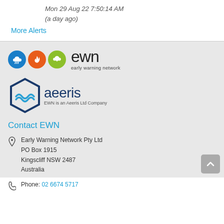Mon 29 Aug 22 7:50:14 AM
(a day ago)
More Alerts
[Figure (logo): EWN Early Warning Network logo with three colored circle icons (blue, orange, green) and the text 'ewn early warning network']
[Figure (logo): Aeeris logo with hexagonal wave icon and text 'aeeris EWN is an Aeeris Ltd Company']
Contact EWN
Early Warning Network Pty Ltd
PO Box 1915
Kingscliff NSW 2487
Australia
Phone: 02 6674 5717